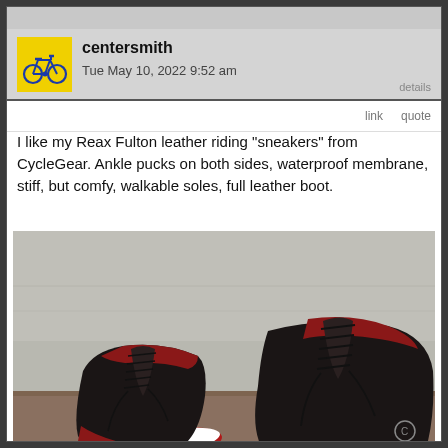centersmith
Tue May 10, 2022 9:52 am
details
link   quote
I like my Reax Fulton leather riding "sneakers" from CycleGear. Ankle pucks on both sides, waterproof membrane, stiff, but comfy, walkable soles, full leather boot.
[Figure (photo): Photo of a pair of black and red leather high-top motorcycle riding sneakers (Reax Fulton) placed on a concrete surface. The shoes have black laces, red leather accents around the ankle and sole, and a white sole. Both shoes are shown side by side.]